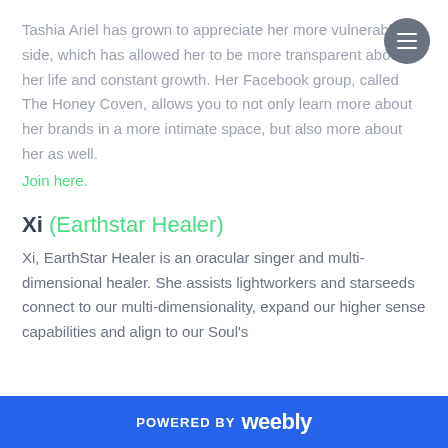Tashia Ariel has grown to appreciate her more vulnerable side, which has allowed her to be more transparent about her life and constant growth. Her Facebook group, called The Honey Coven, allows you to not only learn more about her brands in a more intimate space, but also more about her as well.
Join here.
Xi (Earthstar Healer)
Xi, EarthStar Healer is an oracular singer and multi-dimensional healer. She assists lightworkers and starseeds connect to our multi-dimensionality, expand our higher sense capabilities and align to our Soul's
POWERED BY weebly